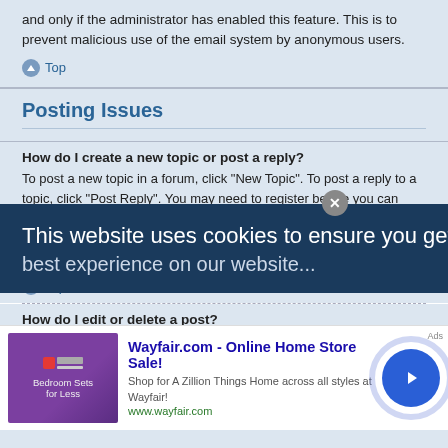and only if the administrator has enabled this feature. This is to prevent malicious use of the email system by anonymous users.
Top
Posting Issues
How do I create a new topic or post a reply?
To post a new topic in a forum, click "New Topic". To post a reply to a topic, click "Post Reply". You may need to register before you can post a message. A list of your permissions in each forum is available at the bottom of the forum and topic screens. Example: You can post new topics, You can post attachments, etc.
Top
How do I edit or delete a post?
[Figure (screenshot): Cookie consent banner overlay reading 'This website uses cookies to ensure you get the ...' on dark blue background, with a close button]
[Figure (screenshot): Advertisement banner for Wayfair.com - Online Home Store Sale! with product image and call-to-action button]